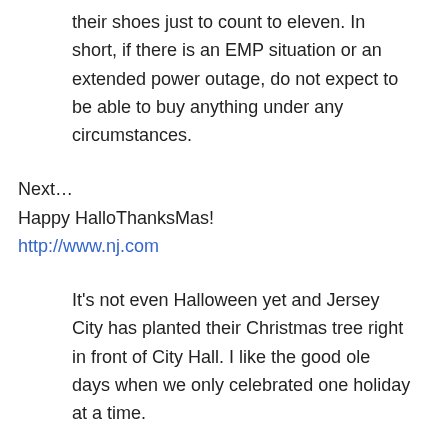their shoes just to count to eleven. In short, if there is an EMP situation or an extended power outage, do not expect to be able to buy anything under any circumstances.
Next…
Happy HalloThanksMas!
http://www.nj.com
It's not even Halloween yet and Jersey City has planted their Christmas tree right in front of City Hall. I like the good ole days when we only celebrated one holiday at a time.
Finally, please prepare now for the escalating economic and social unrest. Good Day!
All content contained on the Hyper Report, and attached